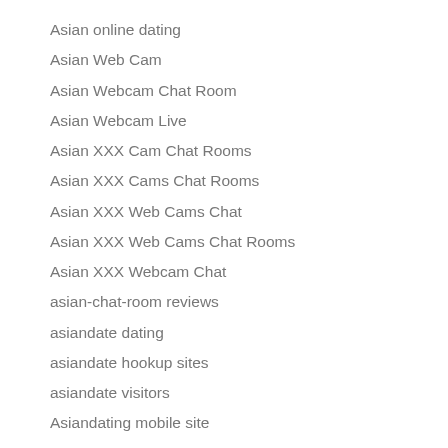Asian online dating
Asian Web Cam
Asian Webcam Chat Room
Asian Webcam Live
Asian XXX Cam Chat Rooms
Asian XXX Cams Chat Rooms
Asian XXX Web Cams Chat
Asian XXX Web Cams Chat Rooms
Asian XXX Webcam Chat
asian-chat-room reviews
asiandate dating
asiandate hookup sites
asiandate visitors
Asiandating mobile site